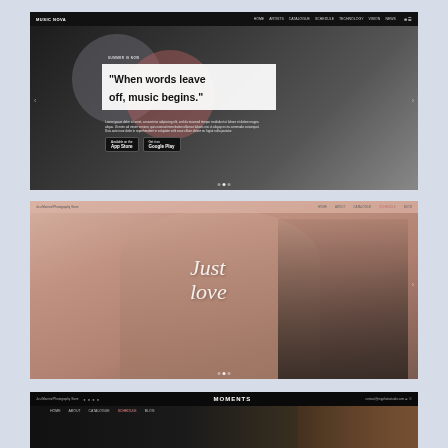[Figure (screenshot): Music app website screenshot with dark background, two overlapping circles (gray and pink/rose), bold white quote box reading 'When words leave off, music begins.', small body text, app store download buttons, navigation bar at top]
[Figure (screenshot): Wedding website screenshot with warm pink/peach background showing a bride with flower crown and groom in suit, cursive white script overlay reading 'Just love', light pink navigation bar at top]
[Figure (screenshot): Partial screenshot of a dark-themed website with black navigation bar, centered logo text 'MOMENTS', woman's face visible on right side, contact info and navigation links]